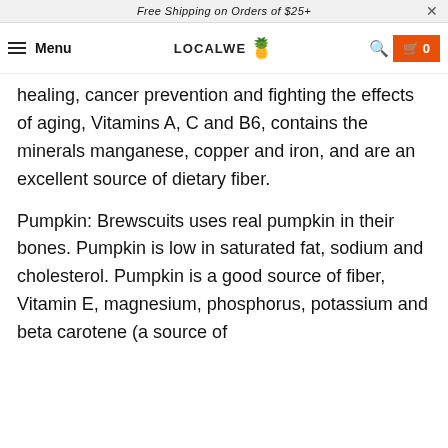Free Shipping on Orders of $25+
Menu | LOCALWE | Search | Cart 0
healing, cancer prevention and fighting the effects of aging, Vitamins A, C and B6, contains the minerals manganese, copper and iron, and are an excellent source of dietary fiber.
Pumpkin: Brewscuits uses real pumpkin in their bones. Pumpkin is low in saturated fat, sodium and cholesterol. Pumpkin is a good source of fiber, Vitamin E, magnesium, phosphorus, potassium and beta carotene (a source of